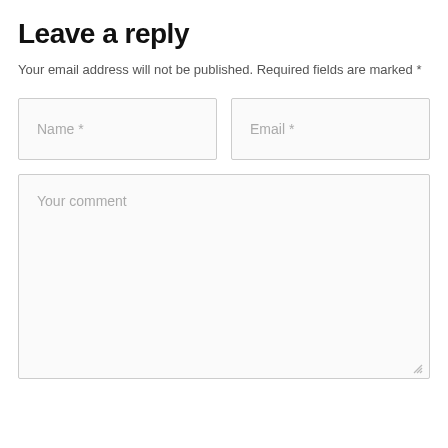Leave a reply
Your email address will not be published. Required fields are marked *
[Figure (screenshot): Web form with Name * and Email * input fields side by side, and a large Your comment textarea below]
Name *
Email *
Your comment